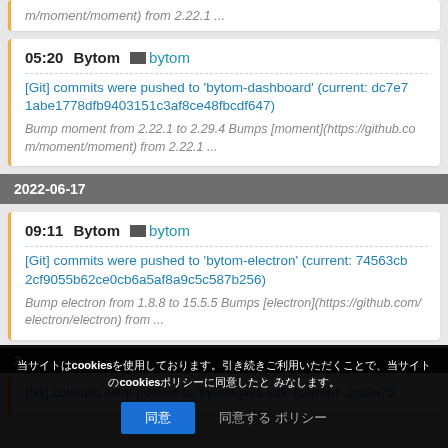m/moment/moment) from 2.22.1 ...
05:20   Bytom   bytom
[Git] commits were pushed to 'bytom-dashboard' (current: dc7e71abe1778dfb9403151c3af8ce48fbcdf647)
Bump moment from 2.22.1 to 2.29.4 Bumps [moment](https://github.com/moment/moment) from 2.22.1 ...
2022-06-17
09:11   Bytom   bytom
[Git] commits were pushed to 'bytom-electron' (current: 74563cb2cf9055b62ce0cb6a5af8a9c5c587b256)
Bump electron from 1.8.8 to 15.5.5 Bumps [electron](https://github.com/electron/electron) from ...
cookies同意 同意について 拒否する